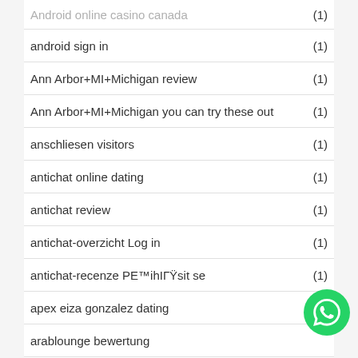Android online casino canada (1)
android sign in (1)
Ann Arbor+MI+Michigan review (1)
Ann Arbor+MI+Michigan you can try these out (1)
anschliesen visitors (1)
antichat online dating (1)
antichat review (1)
antichat-overzicht Log in (1)
antichat-recenze PE™ihIГŸsit se (1)
apex eiza gonzalez dating (1)
arablounge bewertung
arablounge fr review (1)